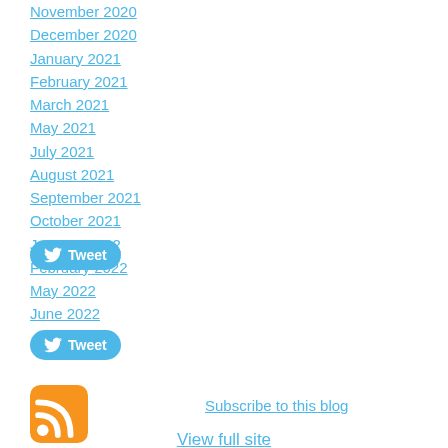November 2020
December 2020
January 2021
February 2021
March 2021
May 2021
July 2021
August 2021
September 2021
October 2021
January 2022
February 2022
May 2022
June 2022
[Figure (other): Twitter Tweet button (first)]
[Figure (other): Twitter Tweet button (second)]
[Figure (other): RSS feed icon]
Subscribe to this blog
View full site